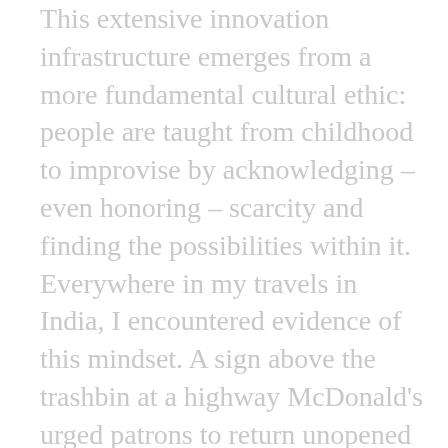This extensive innovation infrastructure emerges from a more fundamental cultural ethic: people are taught from childhood to improvise by acknowledging – even honoring – scarcity and finding the possibilities within it. Everywhere in my travels in India, I encountered evidence of this mindset. A sign above the trashbin at a highway McDonald's urged patrons to return unopened packets of condiments to servers. The cleaning crew of a small hotel in rural Maharashtra gathered the barely used soap bars from guest rooms and deposited them in bowls for handwashing in the common bathrooms. The owner of an apartment in Mumbai cut a piece of vinyl from discarded billboard advertising and fashioned a colorful awning for an outdoor balcony. At his workshop in Pune, sixth-generation coppersmith Bhalchandra Kadu collected the wooden shavings from his lathe for later pickup by the residents of a nearby slum, who use the fuel for warming bath water. The broken axle from a military